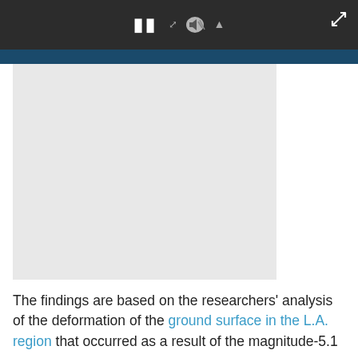[Figure (screenshot): Dark media player bar with pause button, speaker icon, and expand arrow in top right corner]
[Figure (photo): Light gray video placeholder/thumbnail area below the media controls blue bar]
The findings are based on the researchers' analysis of the deformation of the ground surface in the L.A. region that occurred as a result of the magnitude-5.1